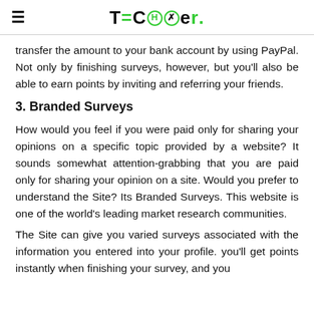TECHaXer.
transfer the amount to your bank account by using PayPal. Not only by finishing surveys, however, but you'll also be able to earn points by inviting and referring your friends.
3. Branded Surveys
How would you feel if you were paid only for sharing your opinions on a specific topic provided by a website? It sounds somewhat attention-grabbing that you are paid only for sharing your opinion on a site. Would you prefer to understand the Site? Its Branded Surveys. This website is one of the world's leading market research communities.
The Site can give you varied surveys associated with the information you entered into your profile. you'll get points instantly when finishing your survey, and you